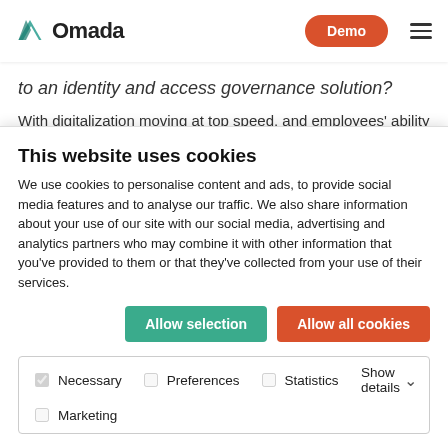Omada — Demo
to an identity and access governance solution?
With digitalization moving at top speed, and employees' ability to quickly be enrolled in these new digitalized processes and applications, the identity and access management evolution is a priority for many organizations.
The latest research from leading US research institution Gartner notes that 63% of organizations have identity and
This website uses cookies
We use cookies to personalise content and ads, to provide social media features and to analyse our traffic. We also share information about your use of our site with our social media, advertising and analytics partners who may combine it with other information that you've provided to them or that they've collected from your use of their services.
Allow selection | Allow all cookies
Necessary  Preferences  Statistics  Marketing   Show details